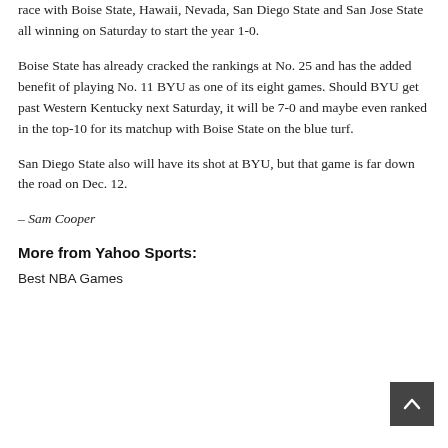race with Boise State, Hawaii, Nevada, San Diego State and San Jose State all winning on Saturday to start the year 1-0.
Boise State has already cracked the rankings at No. 25 and has the added benefit of playing No. 11 BYU as one of its eight games. Should BYU get past Western Kentucky next Saturday, it will be 7-0 and maybe even ranked in the top-10 for its matchup with Boise State on the blue turf.
San Diego State also will have its shot at BYU, but that game is far down the road on Dec. 12.
– Sam Cooper
More from Yahoo Sports:
Best NBA Games